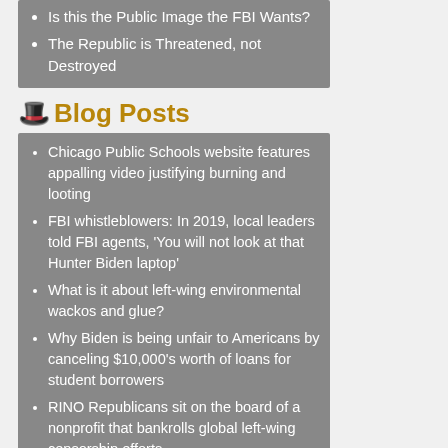Is this the Public Image the FBI Wants?
The Republic is Threatened, not Destroyed
Blog Posts
Chicago Public Schools website features appalling video justifying burning and looting
FBI whistleblowers: In 2019, local leaders told FBI agents, 'You will not look at that Hunter Biden laptop'
What is it about left-wing environmental wackos and glue?
Why Biden is being unfair to Americans by canceling $10,000's worth of loans for student borrowers
RINO Republicans sit on the board of a nonprofit that bankrolls global left-wing censorship efforts
Canada takes giant leap toward Room 101 in the Ministry of Love
The deep, dark history of gender madness in schools
Something's missing in the Mar-a-Lago coverage
Results of Florida school board races were a referendum on leftist politics